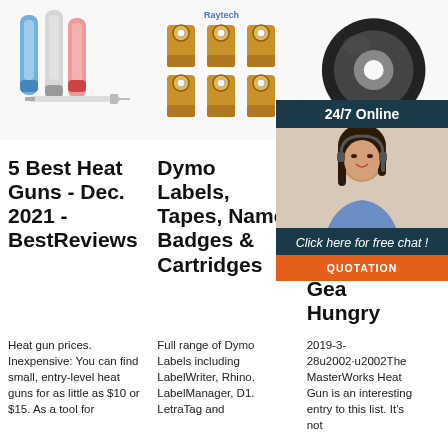[Figure (photo): Three heat shrink connector tubes (blue, clear, pink) and a syringe on white background]
[Figure (photo): Six gold-colored ring terminal connectors with Raytech logo on white background]
[Figure (photo): Black electrical tape roll on white background]
5 Best Heat Guns - Dec. 2021 - BestReviews
Dymo Labels, Tapes, Name Badges & Cartridges
Best Gun 2021 [Buy Guide] Gear Hungry
Heat gun prices. Inexpensive: You can find small, entry-level heat guns for as little as $10 or $15. As a tool for
Full range of Dymo Labels including LabelWriter, Rhino. LabelManager, D1. LetraTag and
2019-3-28u2002·u2002The MasterWorks Heat Gun is an interesting entry to this list. It's not
[Figure (photo): Customer service agent woman with headset, chat overlay panel with 24/7 Online, Click here for free chat!, and QUOTATION button]